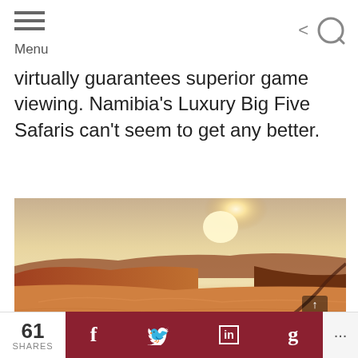Menu
virtually guarantees superior game viewing. Namibia's Luxury Big Five Safaris can't seem to get any better.
[Figure (photo): Desert landscape with orange sand dunes under a bright hazy sun with a winding track/road visible, likely Namibia.]
61 SHARES | Facebook | Twitter | LinkedIn | Google+ | ...